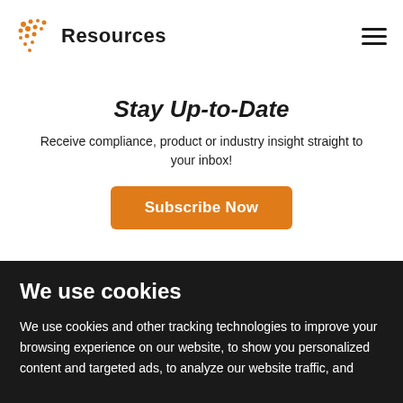Resources
Stay Up-to-Date
Receive compliance, product or industry insight straight to your inbox!
Subscribe Now
We use cookies
We use cookies and other tracking technologies to improve your browsing experience on our website, to show you personalized content and targeted ads, to analyze our website traffic, and